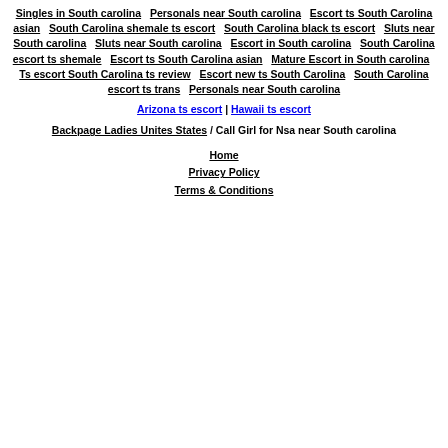Singles in South carolina  Personals near South carolina  Escort ts South Carolina asian  South Carolina shemale ts escort  South Carolina black ts escort  Sluts near South carolina  Sluts near South carolina  Escort in South carolina  South Carolina escort ts shemale  Escort ts South Carolina asian  Mature Escort in South carolina  Ts escort South Carolina ts review  Escort new ts South Carolina  South Carolina escort ts trans  Personals near South carolina
Arizona ts escort | Hawaii ts escort
Backpage Ladies Unites States / Call Girl for Nsa near South carolina
Home
Privacy Policy
Terms & Conditions